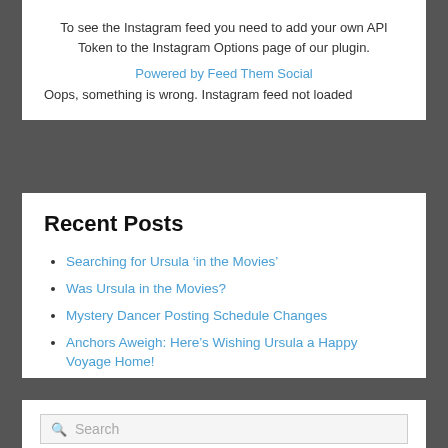To see the Instagram feed you need to add your own API Token to the Instagram Options page of our plugin.
Powered by Feed Them Social
Oops, something is wrong. Instagram feed not loaded
Recent Posts
Searching for Ursula ‘in the Movies’
Was Ursula in the Movies?
Mystery Dancer Posting Schedule Changes
Anchors Aweigh: Here’s Wishing Ursula a Happy Voyage Home!
Life, and Farewells, in Honolulu
Search